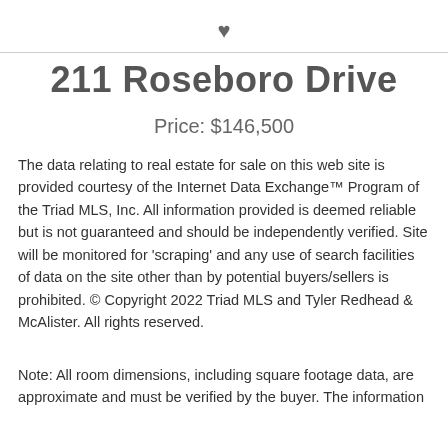[Figure (illustration): Heart/favorite icon in dark gray]
211 Roseboro Drive
Price: $146,500
The data relating to real estate for sale on this web site is provided courtesy of the Internet Data Exchange™ Program of the Triad MLS, Inc. All information provided is deemed reliable but is not guaranteed and should be independently verified. Site will be monitored for 'scraping' and any use of search facilities of data on the site other than by potential buyers/sellers is prohibited. © Copyright 2022 Triad MLS and Tyler Redhead & McAlister. All rights reserved.
Note: All room dimensions, including square footage data, are approximate and must be verified by the buyer. The information